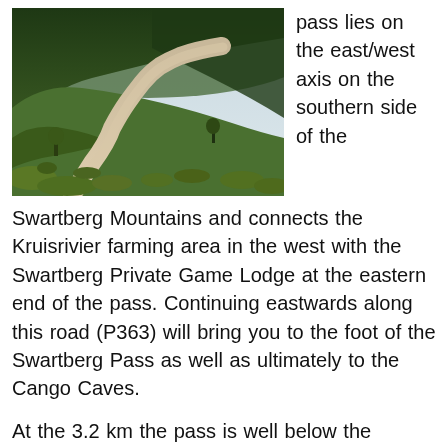[Figure (photo): A winding gravel mountain road cutting through dense green fynbos-covered hills under an overcast sky, viewed from below.]
pass lies on the east/west axis on the southern side of the Swartberg Mountains and connects the Kruisrivier farming area in the west with the Swartberg Private Game Lodge at the eastern end of the pass. Continuing eastwards along this road (P363) will bring you to the foot of the Swartberg Pass as well as ultimately to the Cango Caves.

At the 3.2 km the pass is well below the national average and the altitude variance is a mere 98m, but it is the magnificent scenery which makes